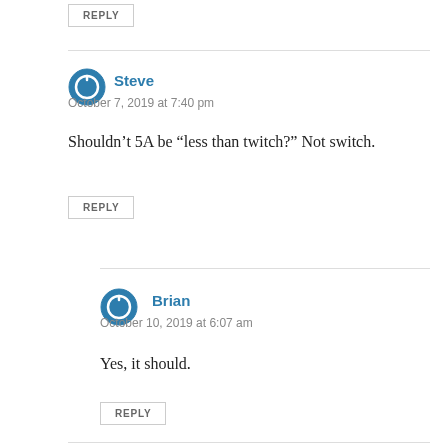REPLY
Steve
October 7, 2019 at 7:40 pm
Shouldn’t 5A be “less than twitch?” Not switch.
REPLY
Brian
October 10, 2019 at 6:07 am
Yes, it should.
REPLY